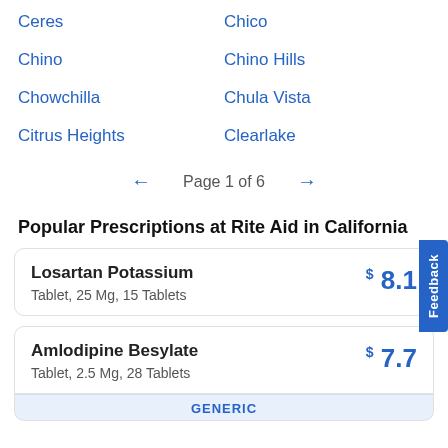Ceres   Chico
Chino   Chino Hills
Chowchilla   Chula Vista
Citrus Heights   Clearlake
← Page 1 of 6 →
Popular Prescriptions at Rite Aid in California
Losartan Potassium   Tablet, 25 Mg, 15 Tablets   $8.1
Amlodipine Besylate   Tablet, 2.5 Mg, 28 Tablets   $7.7
GENERIC